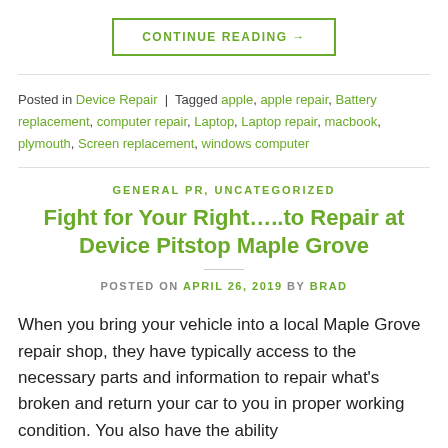CONTINUE READING →
Posted in Device Repair | Tagged apple, apple repair, Battery replacement, computer repair, Laptop, Laptop repair, macbook, plymouth, Screen replacement, windows computer
GENERAL PR, UNCATEGORIZED
Fight for Your Right…..to Repair at Device Pitstop Maple Grove
POSTED ON APRIL 26, 2019 BY BRAD
When you bring your vehicle into a local Maple Grove repair shop, they have typically access to the necessary parts and information to repair what's broken and return your car to you in proper working condition. You also have the ability